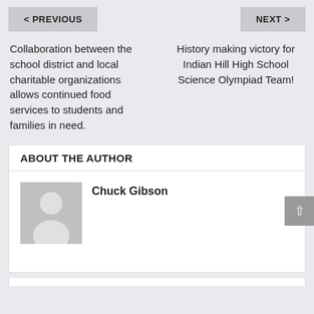< PREVIOUS
NEXT >
Collaboration between the school district and local charitable organizations allows continued food services to students and families in need.
History making victory for Indian Hill High School Science Olympiad Team!
ABOUT THE AUTHOR
[Figure (illustration): Generic user avatar placeholder icon showing a silhouette of a person with head and shoulders on a light gray square background]
Chuck Gibson